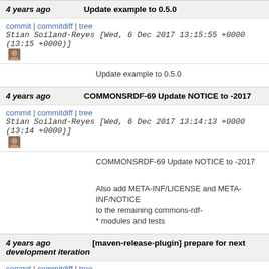4 years ago — Update example to 0.5.0
commit | commitdiff | tree   Stian Soiland-Reyes [Wed, 6 Dec 2017 13:15:55 +0000 (13:15 +0000)]
Update example to 0.5.0
4 years ago — COMMONSRDF-69 Update NOTICE to -2017
commit | commitdiff | tree   Stian Soiland-Reyes [Wed, 6 Dec 2017 13:14:13 +0000 (13:14 +0000)]
COMMONSRDF-69 Update NOTICE to -2017

Also add META-INF/LICENSE and META-INF/NOTICE
to the remaining commons-rdf-
* modules and tests
4 years ago — [maven-release-plugin] prepare for next development iteration
commit | commitdiff | tree   Sergio Fernández [Sun, 19 Nov 2017 21:40:09 +0000 (13:40 -0800)]
[maven-release-plugin] prepare for next development iteration